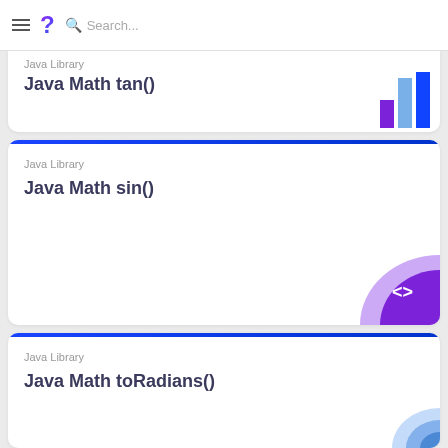Search...
Java Library
Java Math tan()
Java Library
Java Math sin()
Java Library
Java Math toRadians()